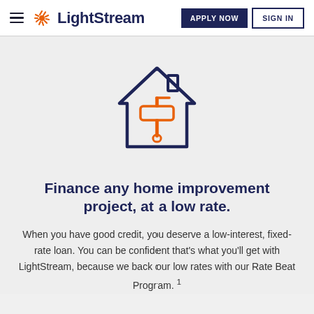LightStream — APPLY NOW | SIGN IN
[Figure (illustration): House outline icon in dark navy blue with an orange paint roller inside, representing home improvement]
Finance any home improvement project, at a low rate.
When you have good credit, you deserve a low-interest, fixed-rate loan. You can be confident that's what you'll get with LightStream, because we back our low rates with our Rate Beat Program.¹